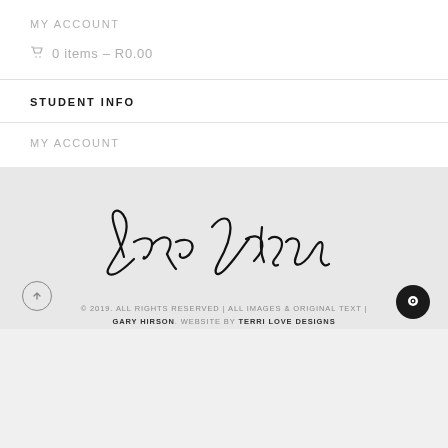MY ACCOUNT
🛒 0 items – R0.00
STUDENT INFO
MY ACCOUNT
[Figure (illustration): Gary Hirson signature in cursive handwriting]
© 2019. ALL RIGHTS RESERVED | ALL IMAGES & ORIGINAL TEXT | GARY HIRSON. WEBSITE BY TERRI LOVE DESIGNS